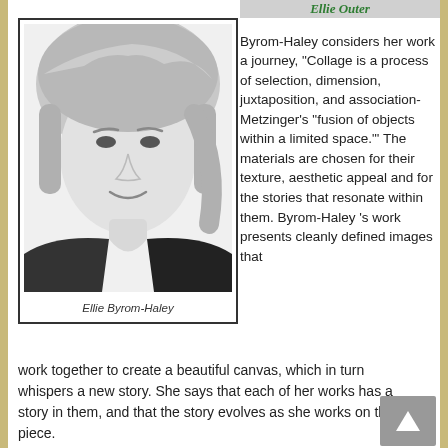Ellie Outer
[Figure (photo): Black and white headshot of Ellie Byrom-Haley, a woman with short blonde hair, smiling, wearing a dark top]
Ellie Byrom-Haley
Byrom-Haley considers her work a journey, “Collage is a process of selection, dimension, juxtaposition, and association-Metzinger’s “fusion of objects within a limited space.”’  The materials are chosen for their texture, aesthetic appeal and for the stories that resonate within them.  Byrom-Haley ’s work presents cleanly defined images that work together to create a beautiful canvas, which in turn whispers a new story. She says that each of her works has a story in them, and that the story evolves as she works on the piece.